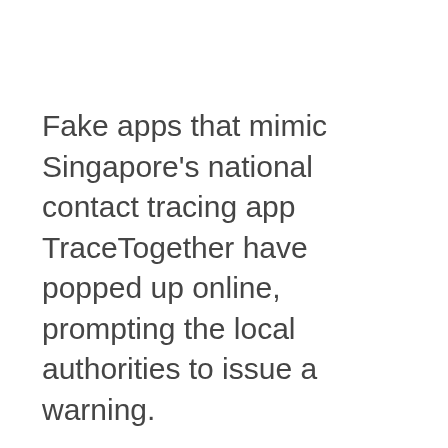Fake apps that mimic Singapore's national contact tracing app TraceTogether have popped up online, prompting the local authorities to issue a warning.